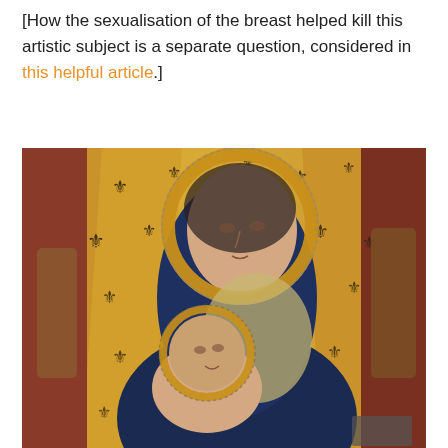[How the sexualisation of the breast helped kill this artistic subject is a separate question, considered in this helpful article.]
[Figure (photo): Medieval religious painting depicting the Virgin Mary nursing the infant Jesus (Madonna Lactans). Mary wears a dark blue robe with a golden halo outlined in pearls/beads, set against a golden background decorated with black fleur-de-lis motifs. The Christ child, also haloed, looks upward while nursing. Angels or decorative elements appear at the sides.]